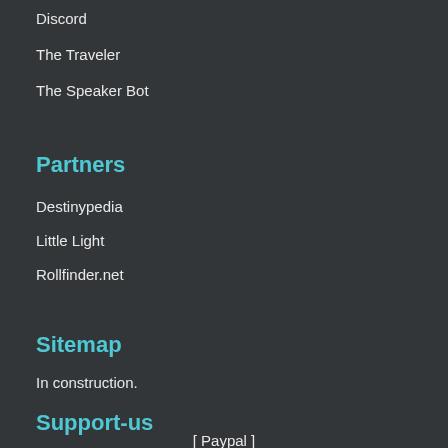Discord
The Traveler
The Speaker Bot
Partners
Destinypedia
Little Light
Rollfinder.net
Sitemap
In construction.
Support-us
[ Paypal ]